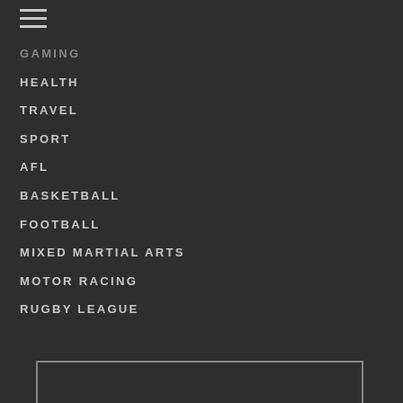[Figure (other): Hamburger menu icon (three horizontal lines)]
GAMING
HEALTH
TRAVEL
SPORT
AFL
BASKETBALL
FOOTBALL
MIXED MARTIAL ARTS
MOTOR RACING
RUGBY LEAGUE